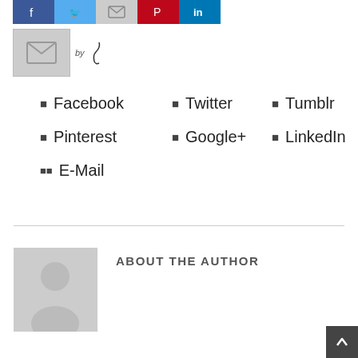[Figure (screenshot): Row of social media icon buttons: Facebook (blue), Twitter (light blue), Email/envelope (gray), Pinterest (red), LinkedIn (blue)]
[Figure (screenshot): Email subscription widget box with envelope icon and 'by' text with feather logo]
Facebook
Twitter
Tumblr
Pinterest
Google+
LinkedIn
E-Mail
ABOUT THE AUTHOR
[Figure (illustration): Generic gray author avatar placeholder with silhouette of a person]
[Figure (illustration): Back to top button, dark gray with white upward arrow, bottom right corner]